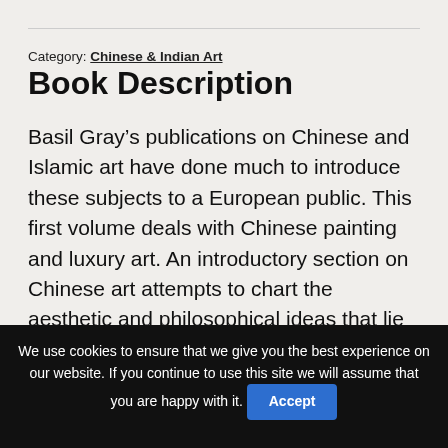Category: Chinese & Indian Art
Book Description
Basil Gray’s publications on Chinese and Islamic art have done much to introduce these subjects to a European public. This first volume deals with Chinese painting and luxury art. An introductory section on Chinese art attempts to chart the aesthetic and philosophical ideas that lie at the roots of Chinese culture, and which have succeeded in dictating the development of this
We use cookies to ensure that we give you the best experience on our website. If you continue to use this site we will assume that you are happy with it. Accept